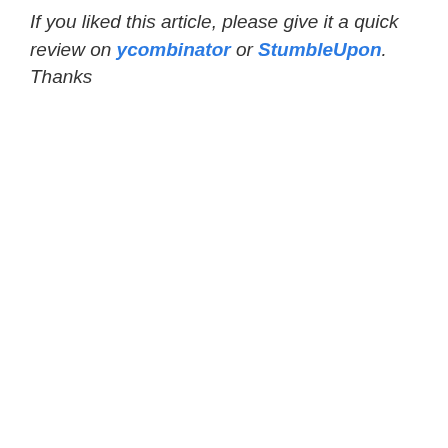If you liked this article, please give it a quick review on ycombinator or StumbleUpon. Thanks